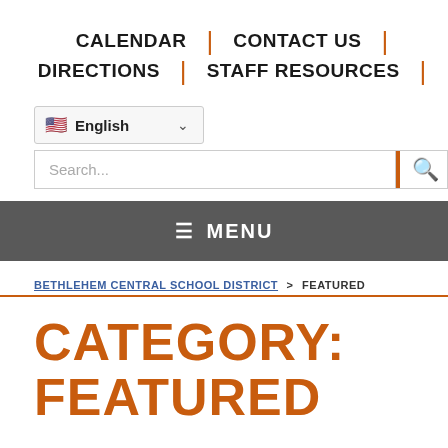CALENDAR | CONTACT US | DIRECTIONS | STAFF RESOURCES |
English (language selector)
Search...
≡ MENU
BETHLEHEM CENTRAL SCHOOL DISTRICT > FEATURED
CATEGORY: FEATURED